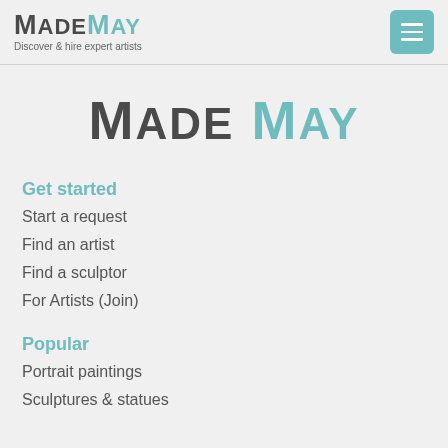MadeMay — Discover & hire expert artists
[Figure (logo): MadeMay large centered logo]
Get started
Start a request
Find an artist
Find a sculptor
For Artists (Join)
Popular
Portrait paintings
Sculptures & statues